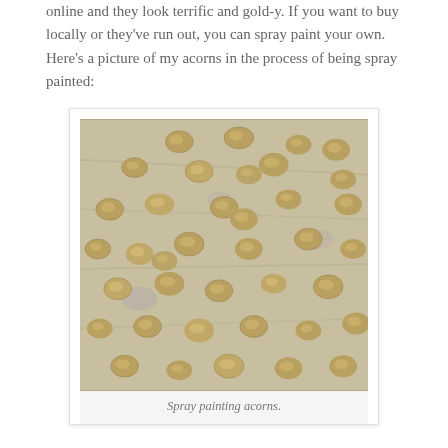online and they look terrific and gold-y. If you want to buy locally or they've run out, you can spray paint your own. Here's a picture of my acorns in the process of being spray painted:
[Figure (photo): Photo of many gold spray-painted acorns scattered on a wooden surface, viewed from above]
Spray painting acorns.